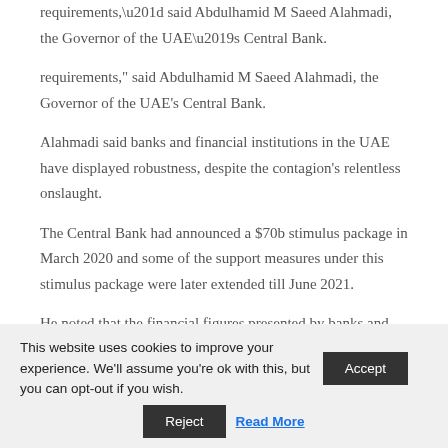requirements,” said Abdulhamid M Saeed Alahmadi, the Governor of the UAE’s Central Bank.
Alahmadi said banks and financial institutions in the UAE have displayed robustness, despite the contagion’s relentless onslaught.
The Central Bank had announced a $70b stimulus package in March 2020 and some of the support measures under this stimulus package were later extended till June 2021.
He noted that the financial figures presented by banks and other financial institutions for the last financial year are encouraging and show the resilience that the banking system has built over time.
This website uses cookies to improve your experience. We'll assume you're ok with this, but you can opt-out if you wish. Accept
Reject  Read More